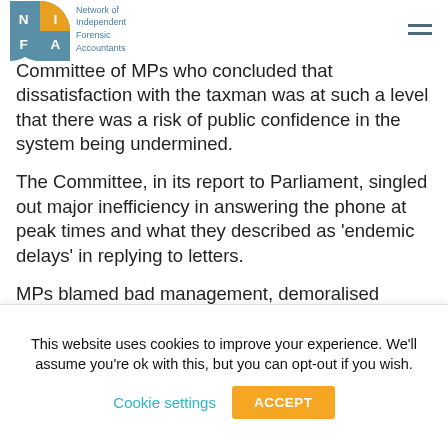Network of Independent Forensic Accountants
apologise, this time for poor customer service.
criticism came from the Treasury Select Committee of MPs who concluded that dissatisfaction with the taxman was at such a level that there was a risk of public confidence in the system being undermined.
The Committee, in its report to Parliament, singled out major inefficiency in answering the phone at peak times and what they described as ‘endemic delays’ in replying to letters.
MPs blamed bad management, demoralised staff…
This website uses cookies to improve your experience. We'll assume you're ok with this, but you can opt-out if you wish.